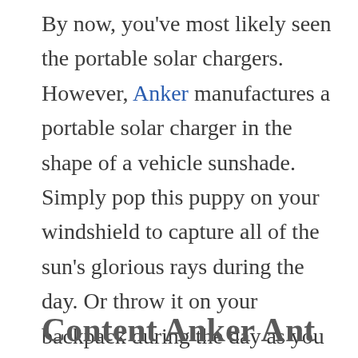By now, you've most likely seen the portable solar chargers. However, Anker manufactures a portable solar charger in the shape of a vehicle sunshade. Simply pop this puppy on your windshield to capture all of the sun's glorious rays during the day. Or throw it on your backpack during the day as you go on hikes. Then at night, you can plug your devices in after you've turned your vehicle off. The Anker Solar Panel Charger is foldable, so you can neatly tuck it away when all is said and done.
Content A...